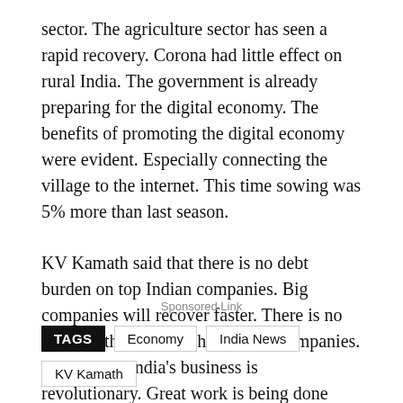sector. The agriculture sector has seen a rapid recovery. Corona had little effect on rural India. The government is already preparing for the digital economy. The benefits of promoting the digital economy were evident. Especially connecting the village to the internet. This time sowing was 5% more than last season.
KV Kamath said that there is no debt burden on top Indian companies. Big companies will recover faster. There is no stress in the balance sheet of big companies. Knowledge India's business is revolutionary. Great work is being done outside the office as well. The e-commerce industry has been the backbone of the economy in these difficult times.
Sponsored Link
TAGS  Economy  India News  KV Kamath